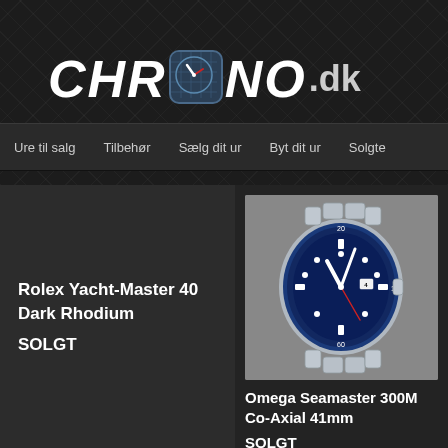[Figure (logo): Chrono.dk logo with clock icon, white bold italic text on dark diamond-pattern background]
Ure til salg  Tilbehør  Sælg dit ur  Byt dit ur  Solgte
Rolex Yacht-Master 40 Dark Rhodium
SOLGT
[Figure (photo): Omega Seamaster 300M Co-Axial 41mm watch with blue bezel and dial, stainless steel bracelet]
Omega Seamaster 300M Co-Axial 41mm
SOLGT